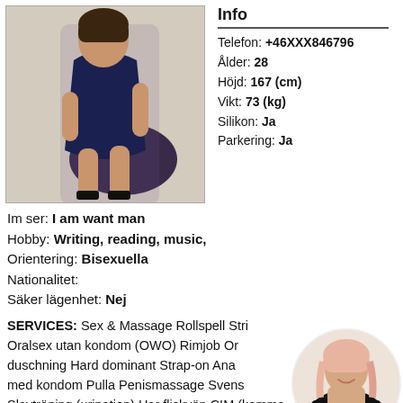[Figure (photo): Woman in dark blue dress posing on a dark chair with high heels]
Info
Telefon: +46XXX846796
Ålder: 28
Höjd: 167 (cm)
Vikt: 73 (kg)
Silikon: Ja
Parkering: Ja
Im ser: I am want man
Hobby: Writing, reading, music,
Orientering: Bisexuella
Nationalitet:
Säker lägenhet: Nej
SERVICES: Sex & Massage Rollspell Stri Oralsex utan kondom (OWO) Rimjob Or duschning Hard dominant Strap-on Ana med kondom Pulla Penismassage Svens Slavträning (urination) Har flickvän CIM (komma i
[Figure (photo): Woman with blonde/pink hair in black lingerie, circular cropped photo]